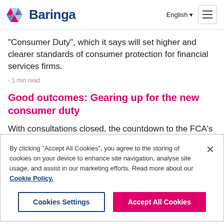Baringa — English [navigation header]
“Consumer Duty”, which it says will set higher and clearer standards of consumer protection for financial services firms.
- 1 min read
Good outcomes: Gearing up for the new consumer duty
With consultations closed, the countdown to the FCA’s
By clicking “Accept All Cookies”, you agree to the storing of cookies on your device to enhance site navigation, analyse site usage, and assist in our marketing efforts. Read more about our Cookie Policy.
Cookies Settings | Accept All Cookies